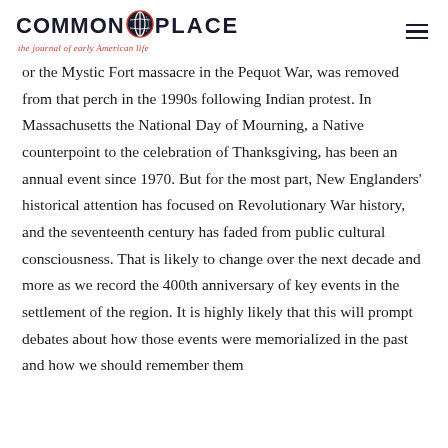COMMON-PLACE the journal of early American life
or the Mystic Fort massacre in the Pequot War, was removed from that perch in the 1990s following Indian protest. In Massachusetts the National Day of Mourning, a Native counterpoint to the celebration of Thanksgiving, has been an annual event since 1970. But for the most part, New Englanders' historical attention has focused on Revolutionary War history, and the seventeenth century has faded from public cultural consciousness. That is likely to change over the next decade and more as we record the 400th anniversary of key events in the settlement of the region. It is highly likely that this will prompt debates about how those events were memorialized in the past and how we should remember them